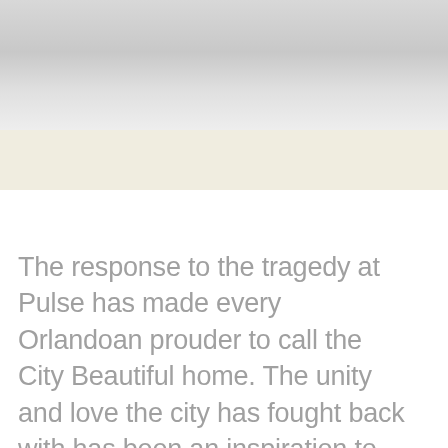[Figure (other): Silver/metallic gradient header band at top of page]
[Figure (other): Cream/beige colored band below the silver header]
The response to the tragedy at Pulse has made every Orlandoan prouder to call the City Beautiful home. The unity and love the city has fought back with has been an inspiration to the world.
Still, this event has rocked 49 families, and enormous ripple